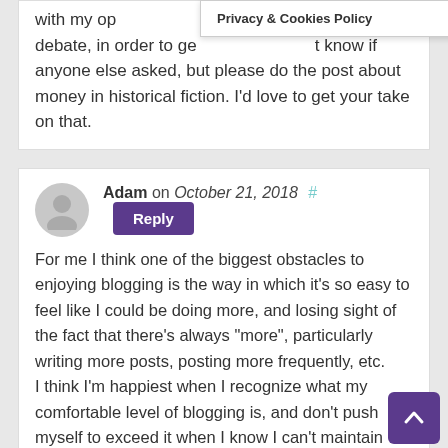with my op[inion, even on topics] that are in debate, in order to ge[t a discussion going. I don'] know if anyone else asked, but please do the post about money in historical fiction. I'd love to get your take on that.
Adam on October 21, 2018 # Reply
For me I think one of the biggest obstacles to enjoying blogging is the way in which it's so easy to feel like I could be doing more, and losing sight of the fact that there's always “more”, particularly writing more posts, posting more frequently, etc.
I think I'm happiest when I recognize what my comfortable level of blogging is, and don't push myself to exceed it when I know I can't maintain that higher rate.
I also think there are times where blogging feels like a means to an end. The goal is to write fictional stories, but along the way blog posts have to also be written, and that's definite[ly a] mistake. I try to remember that I'm writing blog posts to further understand and clarify to myself what I think, and